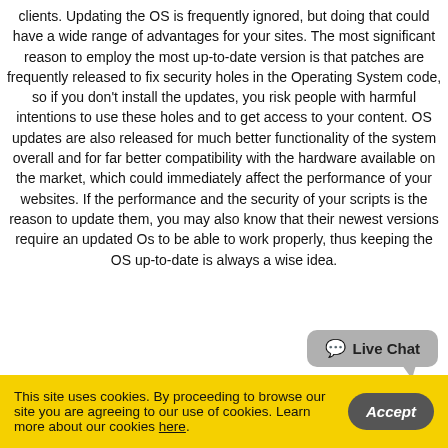clients. Updating the OS is frequently ignored, but doing that could have a wide range of advantages for your sites. The most significant reason to employ the most up-to-date version is that patches are frequently released to fix security holes in the Operating System code, so if you don't install the updates, you risk people with harmful intentions to use these holes and to get access to your content. OS updates are also released for much better functionality of the system overall and for far better compatibility with the hardware available on the market, which could immediately affect the performance of your websites. If the performance and the security of your scripts is the reason to update them, you may also know that their newest versions require an updated Os to be able to work properly, thus keeping the OS up-to-date is always a wise idea.
[Figure (other): Live Chat button widget — rounded rectangle with speech bubble tail, showing a chat bubble icon and 'Live Chat' text]
This site uses cookies. By proceeding to browse our site you are agreeing to our use of cookies. Learn more about our cookies here.